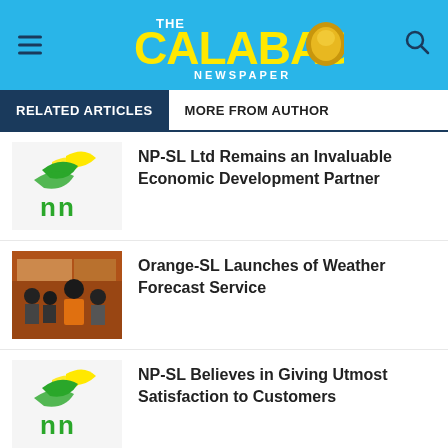THE CALABASH NEWSPAPER
RELATED ARTICLES | MORE FROM AUTHOR
[Figure (logo): NP-SL logo: green and yellow swoosh with green 'nn' text]
NP-SL Ltd Remains an Invaluable Economic Development Partner
[Figure (photo): Photo of people at an Orange-SL event, man in orange jacket standing at front]
Orange-SL Launches of Weather Forecast Service
[Figure (logo): NP-SL logo: green and yellow swoosh with green 'nn' text]
NP-SL Believes in Giving Utmost Satisfaction to Customers